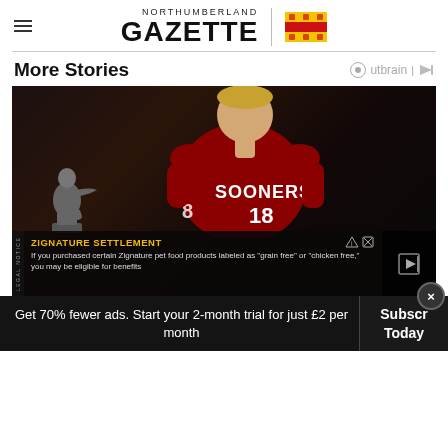Northumberland Gazette
More Stories
[Figure (photo): Young man in red Oklahoma Sooners football jersey (#18) posing with a Heisman Trophy statue against a dark background. An advertisement overlay for 'Zignature Settlement' is visible at the bottom of the image.]
Get 70% fewer ads. Start your 2-month trial for just £2 per month
Subscribe Today